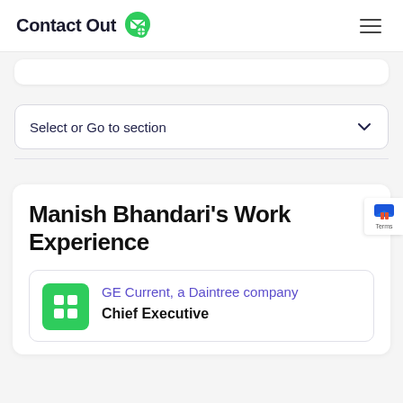ContactOut
Select or Go to section
Manish Bhandari's Work Experience
GE Current, a Daintree company
Chief Executive